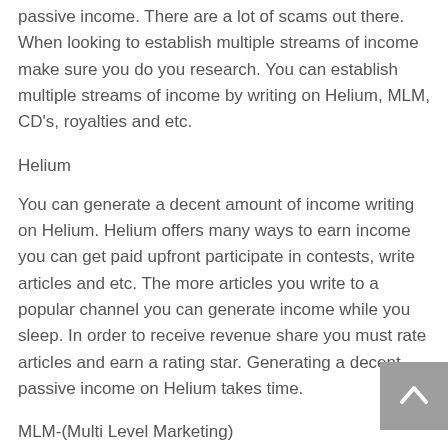passive income. There are a lot of scams out there. When looking to establish multiple streams of income make sure you do you research. You can establish multiple streams of income by writing on Helium, MLM, CD's, royalties and etc.
Helium
You can generate a decent amount of income writing on Helium. Helium offers many ways to earn income you can get paid upfront participate in contests, write articles and etc. The more articles you write to a popular channel you can generate income while you sleep. In order to receive revenue share you must rate articles and earn a rating star. Generating a decent passive income on Helium takes time.
MLM-(Multi Level Marketing)